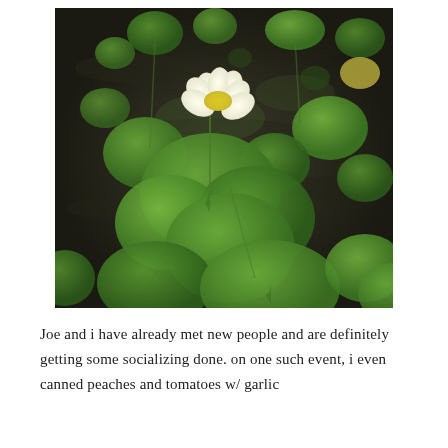[Figure (photo): Overhead photograph of a pond with large round green lily pads floating on dark water. A single white lotus flower with yellow center blooms in the middle of the scene. Multiple overlapping lily pads in various shades of green fill the frame.]
Joe and i have already met new people and are definitely getting some socializing done. on one such event, i even canned peaches and tomatoes w/ garlic